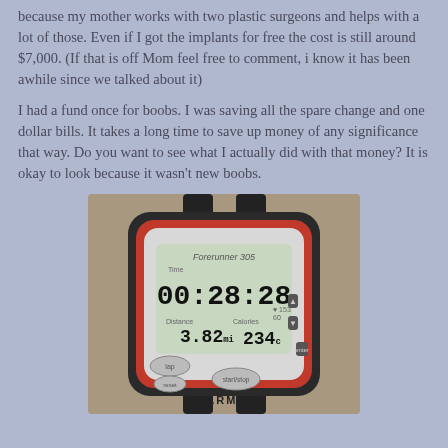because my mother works with two plastic surgeons and helps with a lot of those.  Even if I got the implants for free the cost is still around $7,000.  (If that is off Mom feel free to comment, i know it has been awhile since we talked about it)
I had a fund once for boobs.  I was saving all the spare change and one dollar bills.  It takes a long time to save up money of any significance that way.  Do you want to see what I actually did with that money?  It is okay to look because it wasn't new boobs.
[Figure (photo): A Garmin Forerunner 305 GPS running watch showing time 00:28:28, distance 3.82 miles, calories 234, and other stats. The watch is red and silver with a black rubber band.]